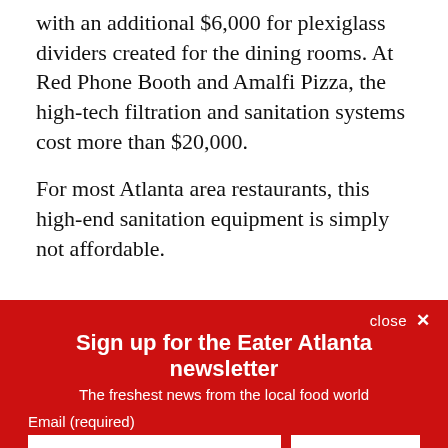with an additional $6,000 for plexiglass dividers created for the dining rooms. At Red Phone Booth and Amalfi Pizza, the high-tech filtration and sanitation systems cost more than $20,000.
For most Atlanta area restaurants, this high-end sanitation equipment is simply not affordable.
Sign up for the Eater Atlanta newsletter
The freshest news from the local food world
Email (required)
SUBSCRIBE
By submitting your email, you agree to our Terms and Privacy Notice. You can opt out at any time. This site is protected by reCAPTCHA and the Google Privacy Policy and Terms of Service apply.